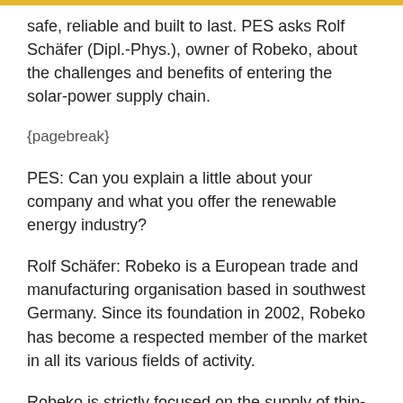safe, reliable and built to last. PES asks Rolf Schäfer (Dipl.-Phys.), owner of Robeko, about the challenges and benefits of entering the solar-power supply chain.
{pagebreak}
PES: Can you explain a little about your company and what you offer the renewable energy industry?
Rolf Schäfer: Robeko is a European trade and manufacturing organisation based in southwest Germany. Since its foundation in 2002, Robeko has become a respected member of the market in all its various fields of activity.
Robeko is strictly focused on the supply of thin-film deposition components and services. These components are widely used in the production of